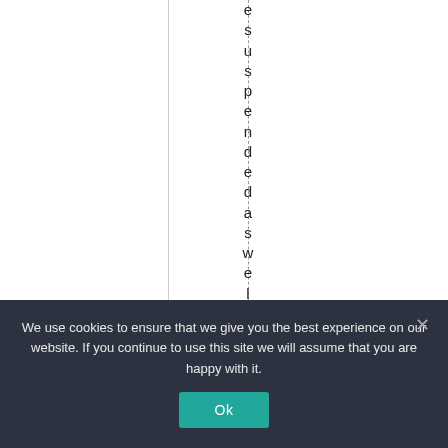e s u s p e n d e d a s w e l l . P
We use cookies to ensure that we give you the best experience on our website. If you continue to use this site we will assume that you are happy with it.
Ok